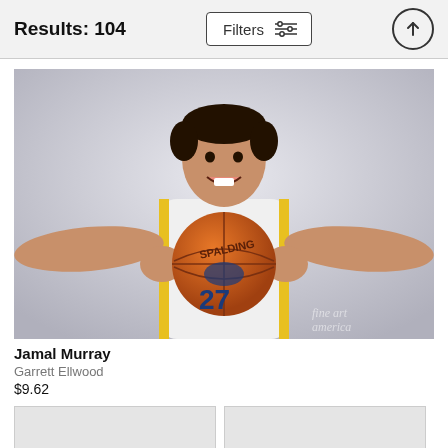Results: 104
[Figure (photo): Basketball player Jamal Murray in white Indiana Pacers jersey #27 holding a Spalding NBA basketball, smiling at camera, media day photo. Fine Art watermark in bottom right corner.]
Jamal Murray
Garrett Ellwood
$9.62